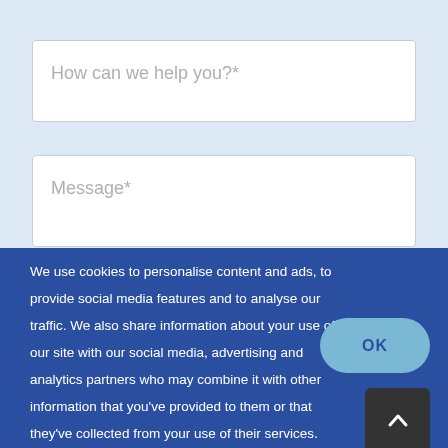How can we help you?*
Message*
We use cookies to personalise content and ads, to provide social media features and to analyse our traffic. We also share information about your use of our site with our social media, advertising and analytics partners who may combine it with other information that you've provided to them or that they've collected from your use of their services.
OK